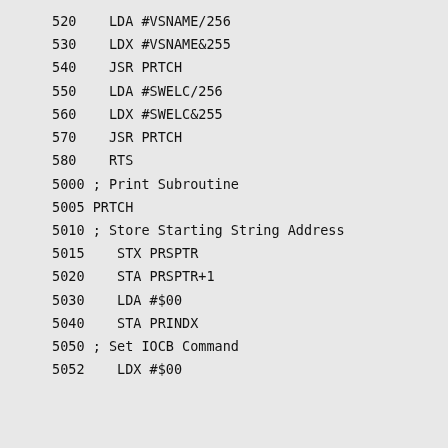520    LDA #VSNAME/256
530    LDX #VSNAME&255
540    JSR PRTCH
550    LDA #SWELC/256
560    LDX #SWELC&255
570    JSR PRTCH
580    RTS
5000 ; Print Subroutine
5005 PRTCH
5010 ; Store Starting String Address
5015    STX PRSPTR
5020    STA PRSPTR+1
5030    LDA #$00
5040    STA PRINDX
5050 ; Set IOCB Command
5052    LDX #$00